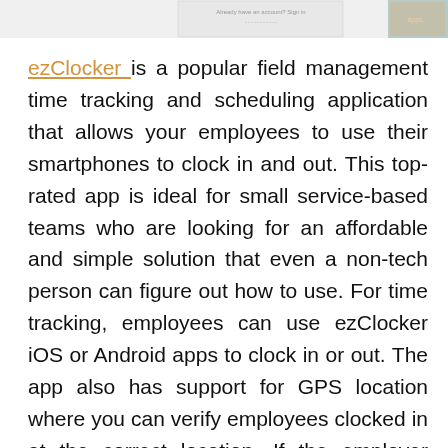[Figure (screenshot): Partial screenshot of app interfaces at the top of the page, showing a login/sign-up screen on the left and an app interface with a person on the right]
ezClocker is a popular field management time tracking and scheduling application that allows your employees to use their smartphones to clock in and out. This top-rated app is ideal for small service-based teams who are looking for an affordable and simple solution that even a non-tech person can figure out how to use. For time tracking, employees can use ezClocker iOS or Android apps to clock in or out. The app also has support for GPS location where you can verify employees clocked in at the correct location. If the employer wishes for the employees to use their own devices, then